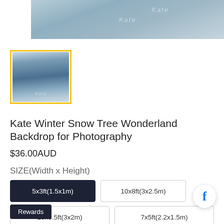[Figure (photo): Winter snow scene with blue tones and Kate watermark — hero banner image]
[Figure (photo): Thumbnail of Kate Winter Snow Tree Wonderland Backdrop with yellow border highlight]
Kate Winter Snow Tree Wonderland Backdrop for Photography
$36.00AUD
SIZE(Width x Height)
5x3ft(1.5x1m)
10x8ft(3x2.5m)
10x6.5ft(3x2m)
7x5ft(2.2x1.5m)
Rewards